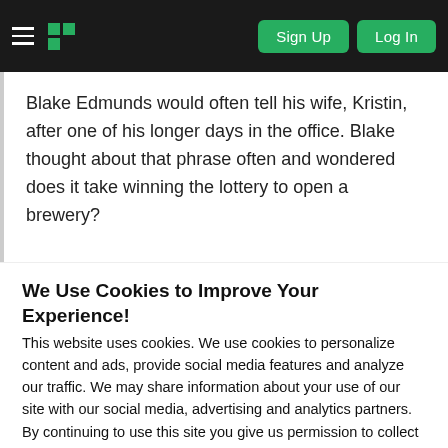Sign Up | Log In
Blake Edmunds would often tell his wife, Kristin, after one of his longer days in the office. Blake thought about that phrase often and wondered does it take winning the lottery to open a brewery?
We Use Cookies to Improve Your Experience!
This website uses cookies. We use cookies to personalize content and ads, provide social media features and analyze our traffic. We may share information about your use of our site with our social media, advertising and analytics partners. By continuing to use this site you give us permission to collect cookie data. You can disable cookies already stored on your computer at any time.
CLOSE